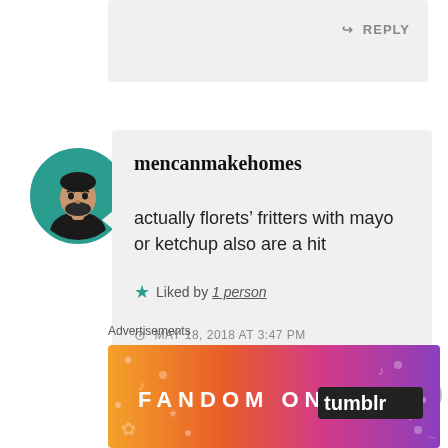[Figure (screenshot): Reply button area in light gray comment block]
[Figure (photo): Circular avatar photo of a man with dark hair and beard against teal/green background]
mencanmakehomes
actually florets’ fritters with mayo or ketchup also are a hit
Liked by 1 person
MAY 18, 2018 AT 3:47 PM
Advertisements
[Figure (infographic): Fandom on Tumblr advertisement banner with colorful gradient from orange to purple with white text reading FANDOM ON tumblr]